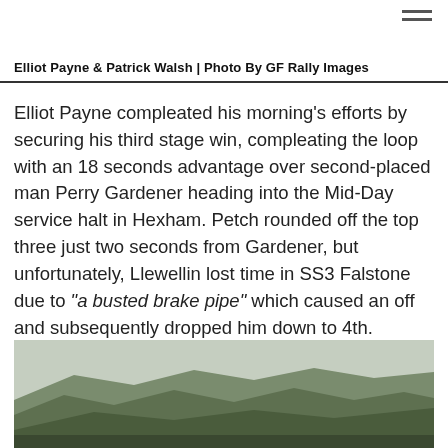Elliot Payne & Patrick Walsh | Photo By GF Rally Images
Elliot Payne compleated his morning's efforts by securing his third stage win, compleating the loop with an 18 seconds advantage over second-placed man Perry Gardener heading into the Mid-Day service halt in Hexham. Petch rounded off the top three just two seconds from Gardener, but unfortunately, Llewellin lost time in SS3 Falstone due to “a busted brake pipe” which caused an off and subsequently dropped him down to 4th.
[Figure (photo): Landscape photo showing forested hills, partially visible at bottom of page]